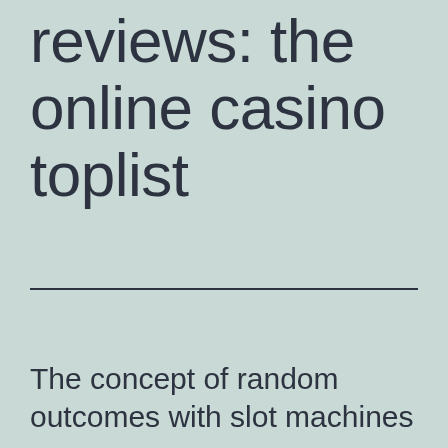reviews: the online casino toplist
The concept of random outcomes with slot machines